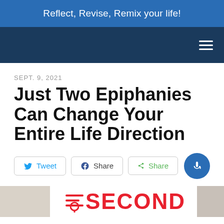Reflect, Revise, Remix your life!
SEPT. 9, 2021
Just Two Epiphanies Can Change Your Entire Life Direction
Tweet  Share  Share
[Figure (screenshot): Bottom portion showing a red 'SECOND' text logo with microphone icon and partial book/album cover image]